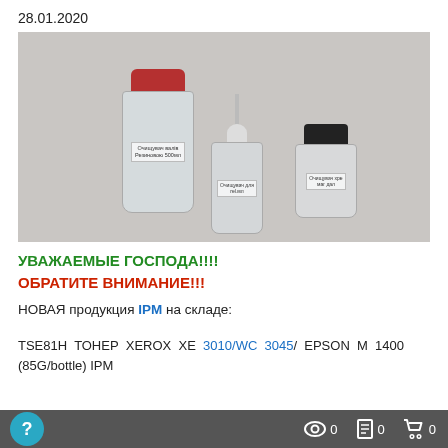28.01.2020
[Figure (photo): Three bottles of cleaning fluid/toner: a large bottle with red cap (Очищувач валів Резиновою 500мл), a medium bottle with pump dispenser (Очищувач для rel.мл), and a small bottle with black cap (Очищувач хре маг дал), all on a gray surface.]
УВАЖАЕМЫЕ ГОСПОДА!!!!
ОБРАТИТЕ ВНИМАНИЕ!!!
НОВАЯ продукция IPM на складе:
TSE81H ТОНЕР XEROX XE 3010/WC 3045/ EPSON M 1400 (85G/bottle) IPM
? 0  0  0